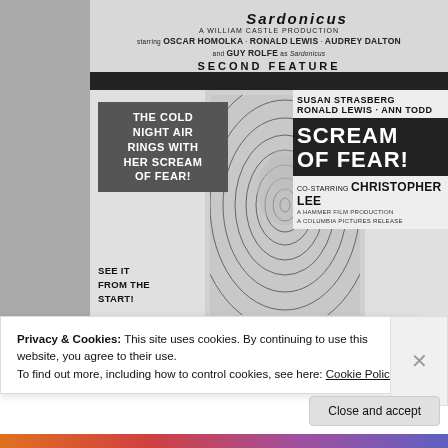[Figure (photo): Black and white movie advertisement/poster. Top section shows 'A William Castle Production' with starring credits: Oscar Homolka, Ronald Lewis, Audrey Dalton, and Guy Rolfe as Sardonicus. Second Feature label. Main section shows poster for 'Scream of Fear!' with tagline 'The cold night air rings with her scream of fear!' and credits Susan Strasberg, Ronald Lewis, Ann Todd, Christopher Lee. A Hammer Film Production, A Columbia Pictures Release. Background shows a large fingerprint spiral image with a face. Left: 'See it from the start!']
Privacy & Cookies: This site uses cookies. By continuing to use this website, you agree to their use.
To find out more, including how to control cookies, see here: Cookie Policy
Close and accept